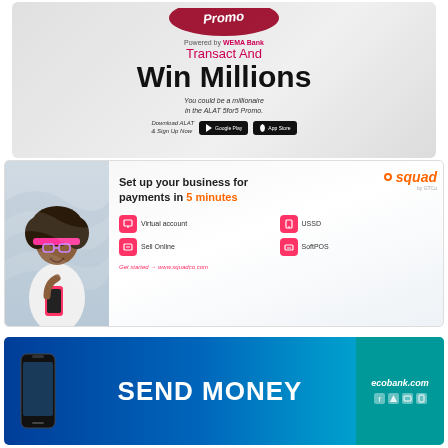[Figure (infographic): ALAT by WEMA Bank advertisement banner. Shows '5for5 Promo' badge, text 'Powered by WEMA Bank', 'Transact And Win Millions', 'You could be a millionaire in the ALAT 5for5 Promo.', 'Download ALAT & Sign Up Now' with Google Play and App Store buttons.]
[Figure (infographic): Squad by GTCo advertisement banner. Shows a woman holding a phone, Squad logo in orange, text 'Set up your business for payments in 5 minutes', features: Virtual account, USSD, Sell Online, SoftPOS, with URL www.squadco.com.]
[Figure (infographic): Ecobank advertisement banner with blue gradient background. Shows a phone, text 'SEND MONEY', ecobank.com URL and social media icons on teal right panel.]